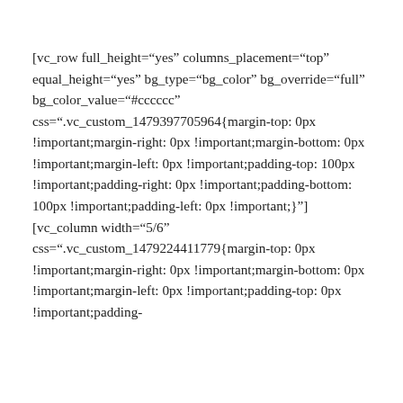[vc_row full_height="yes" columns_placement="top" equal_height="yes" bg_type="bg_color" bg_override="full" bg_color_value="#cccccc" css=".vc_custom_1479397705964{margin-top: 0px !important;margin-right: 0px !important;margin-bottom: 0px !important;margin-left: 0px !important;padding-top: 100px !important;padding-right: 0px !important;padding-bottom: 100px !important;padding-left: 0px !important;}"] [vc_column width="5/6" css=".vc_custom_1479224411779{margin-top: 0px !important;margin-right: 0px !important;margin-bottom: 0px !important;margin-left: 0px !important;padding-top: 0px !important;padding-